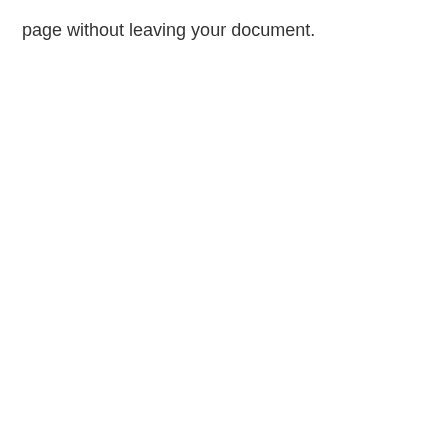page without leaving your document.